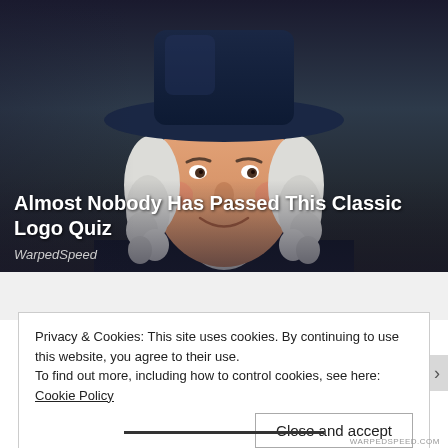[Figure (illustration): Illustrated portrait of a historical-style figure (Quaker Oats man style) wearing a dark wide-brimmed hat and colonial clothing with white cravat, white curly hair, smiling expression, against a dark gradient background.]
Almost Nobody Has Passed This Classic Logo Quiz
WarpedSpeed
Privacy & Cookies: This site uses cookies. By continuing to use this website, you agree to their use.
To find out more, including how to control cookies, see here: Cookie Policy
Close and accept